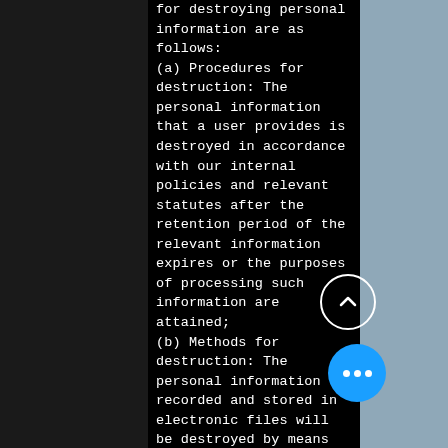for destroying personal information are as follows: (a) Procedures for destruction: The personal information that a user provides is destroyed in accordance with our internal policies and relevant statutes after the retention period of the relevant information expires or the purposes of processing such information are attained; (b) Methods for destruction: The personal information recorded and stored in electronic files will be destroyed by means of low-level formatting or other similar metho prevent the recovery of the records, whil personal information recorded a preserved in paper documents will be